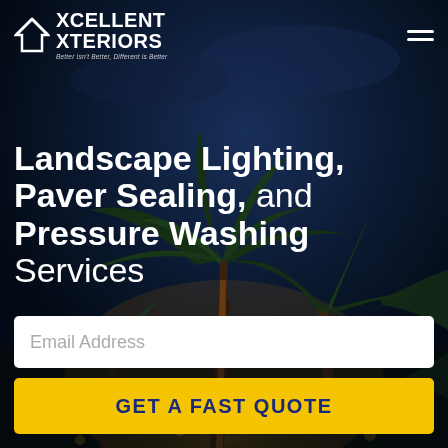[Figure (photo): Night-time landscape photo showing lit palm trees against a dark blue sky, with warm golden landscape lighting at base]
Xcellent Xteriors — Better Isn't Better, Different is Better
Landscape Lighting, Paver Sealing, and Pressure Washing Services
Email Address
GET A FAST QUOTE